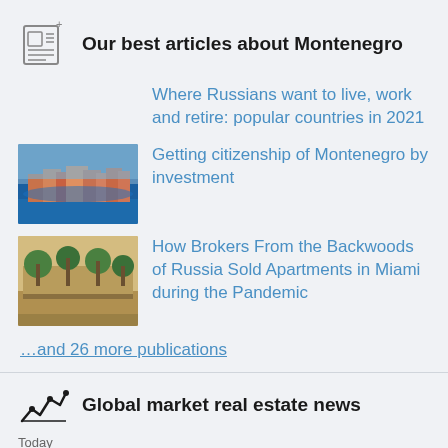Our best articles about Montenegro
Where Russians want to live, work and retire: popular countries in 2021
[Figure (photo): Coastal town in Montenegro with colorful buildings by the water]
Getting citizenship of Montenegro by investment
[Figure (photo): Tropical scene with palm trees and stone walls, Miami or similar]
How Brokers From the Backwoods of Russia Sold Apartments in Miami during the Pandemic
…and 26 more publications
Global market real estate news
Today
Turkey's commercial real estate: office space demand grows